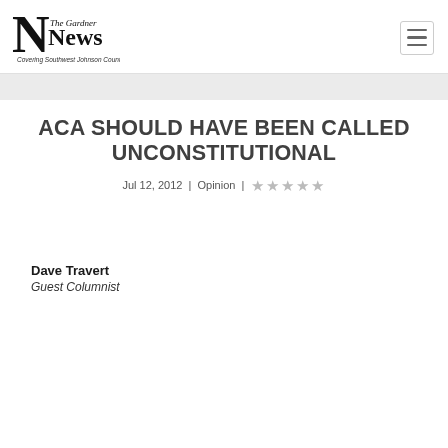[Figure (logo): The Gardner News logo — large stylized 'N' with 'The Gardner News' text, tagline 'Covering Southwest Johnson County']
ACA SHOULD HAVE BEEN CALLED UNCONSTITUTIONAL
Jul 12, 2012 | Opinion | ★★★★★
Dave Travert
Guest Columnist